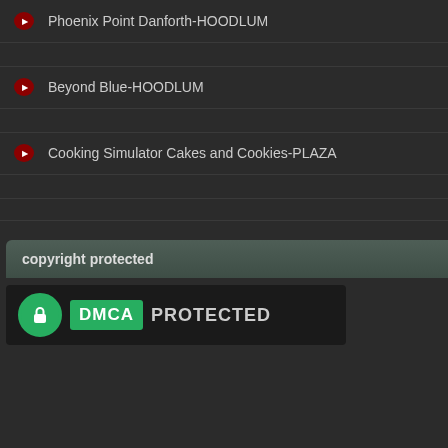Phoenix Point Danforth-HOODLUM
Beyond Blue-HOODLUM
Cooking Simulator Cakes and Cookies-PLAZA
copyright protected
[Figure (logo): DMCA Protected badge with green lock icon and DMCA PROTECTED text]
[Figure (illustration): Decorative golden ornamental design on dark background (game cover art, partially visible)]
[Figure (infographic): Social media share buttons: Facebook (blue), Twitter (light blue), LinkedIn (blue), Pinterest (red)]
Title: Atelier Sophie The...
Genre: Adventure, RPG...
Developer: KOEI Tecmo...
Publisher: KOEI Tecmo...
Release Date: 8 Feb, 20...
Languages: English, Ja...
File Size: 4.40 GB / Split 2 parts
Mirrors: Mega.nz, Racaty, Goog...
Free Download Atelier Sophie: T... medieval European town, the Ate... discovers she is the owner of an e...